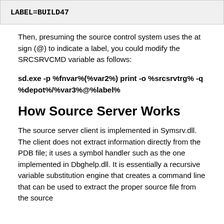LABEL=BUILD47
Then, presuming the source control system uses the at sign (@) to indicate a label, you could modify the SRCSRVCMD variable as follows:
sd.exe -p %fnvar%(%var2%) print -o %srcsrvtrg% -q %depot%/%var3%@%label%
How Source Server Works
The source server client is implemented in Symsrv.dll. The client does not extract information directly from the PDB file; it uses a symbol handler such as the one implemented in Dbghelp.dll. It is essentially a recursive variable substitution engine that creates a command line that can be used to extract the proper source file from the source